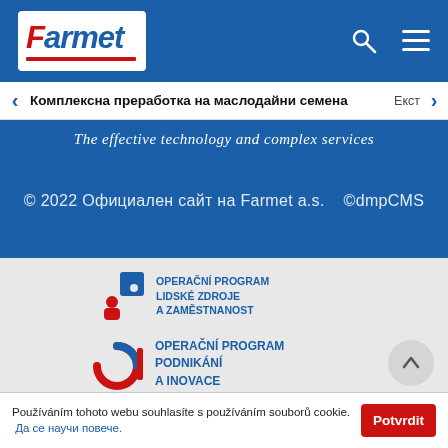[Figure (logo): Farmet company logo on blue header bar with search and hamburger menu icons]
Комплексна преработка на маслодайни семена
Екст
The effective technology and complex services
© 2022 Официален сайт на Farmet a.s.    ©dmpCMS
[Figure (logo): Operační program Lidské zdroje a zaměstnanost logo]
[Figure (logo): Operační program Podnikání a inovace logo]
[Figure (logo): TACR Technologická agentura České republiky logo]
Používáním tohoto webu souhlasíte s používáním souborů cookie.  Да се научи повече.
Potvrdit